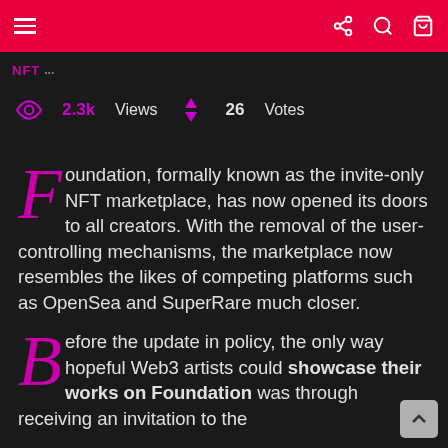Navigation bar with hamburger menu, share, search, and cart icons
NFT [logo/header text]
2.3k Views  26 Votes
Foundation, formally known as the invite-only NFT marketplace, has now opened its doors to all creators. With the removal of the user-controlling mechanisms, the marketplace now resembles the likes of competing platforms such as OpenSea and SuperRare much closer.
Before the update in policy, the only way hopeful Web3 artists could showcase their works on Foundation was through receiving an invitation to the